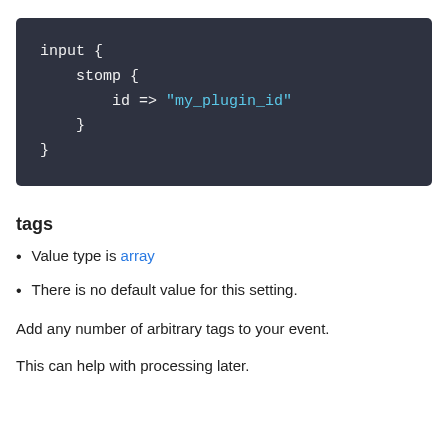[Figure (screenshot): Code block on dark background showing: input { stomp { id => "my_plugin_id" } }]
tags
Value type is array
There is no default value for this setting.
Add any number of arbitrary tags to your event.
This can help with processing later.